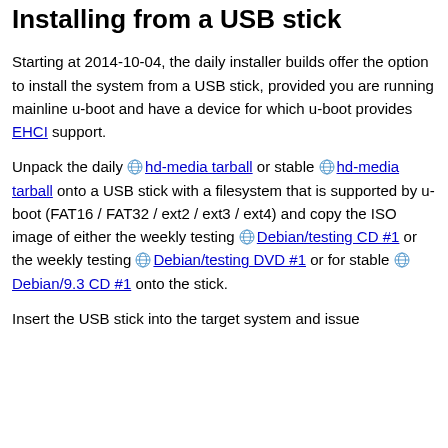Install in the usual way. Use setenv diargs foo=bar to pass arguments to the installer (e.g. for preseeding)
Installing from a USB stick
Starting at 2014-10-04, the daily installer builds offer the option to install the system from a USB stick, provided you are running mainline u-boot and have a device for which u-boot provides EHCI support.
Unpack the daily hd-media tarball or stable hd-media tarball onto a USB stick with a filesystem that is supported by u-boot (FAT16 / FAT32 / ext2 / ext3 / ext4) and copy the ISO image of either the weekly testing Debian/testing CD #1 or the weekly testing Debian/testing DVD #1 or for stable Debian/9.3 CD #1 onto the stick.
Insert the USB stick into the target system and issue